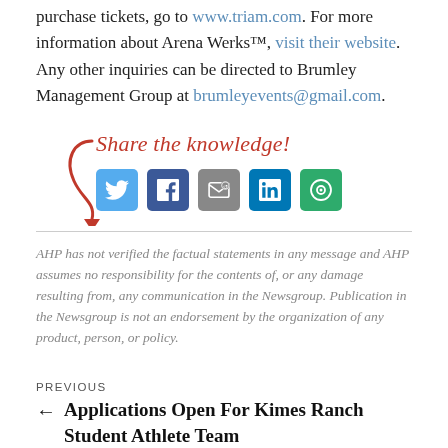purchase tickets, go to www.triam.com. For more information about Arena Werks™, visit their website. Any other inquiries can be directed to Brumley Management Group at brumleyevents@gmail.com.
[Figure (infographic): Share the knowledge! text in red italic with a red curly arrow, and social media icons: Twitter (blue bird), Facebook (blue f), Email (grey envelope), LinkedIn (blue in), More (green circle arrows)]
AHP has not verified the factual statements in any message and AHP assumes no responsibility for the contents of, or any damage resulting from, any communication in the Newsgroup. Publication in the Newsgroup is not an endorsement by the organization of any product, person, or policy.
PREVIOUS
← Applications Open For Kimes Ranch Student Athlete Team